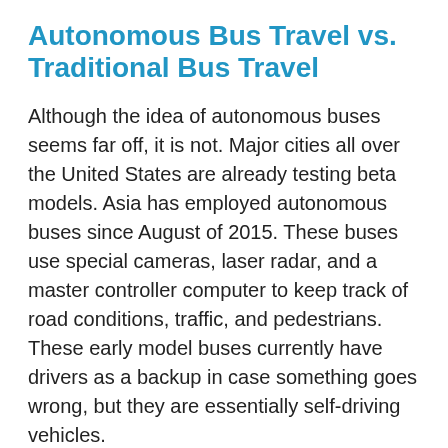Autonomous Bus Travel vs. Traditional Bus Travel
Although the idea of autonomous buses seems far off, it is not. Major cities all over the United States are already testing beta models. Asia has employed autonomous buses since August of 2015. These buses use special cameras, laser radar, and a master controller computer to keep track of road conditions, traffic, and pedestrians. These early model buses currently have drivers as a backup in case something goes wrong, but they are essentially self-driving vehicles.
Public concern over the safety of self-driving vehicles versus traditional intercity buses should rest assured. The statistics prove that human error happens far